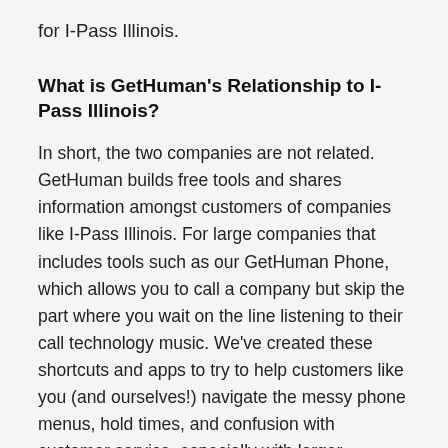for I-Pass Illinois.
What is GetHuman's Relationship to I-Pass Illinois?
In short, the two companies are not related. GetHuman builds free tools and shares information amongst customers of companies like I-Pass Illinois. For large companies that includes tools such as our GetHuman Phone, which allows you to call a company but skip the part where you wait on the line listening to their call technology music. We've created these shortcuts and apps to try to help customers like you (and ourselves!) navigate the messy phone menus, hold times, and confusion with customer service, especially with larger companies. And as long as you